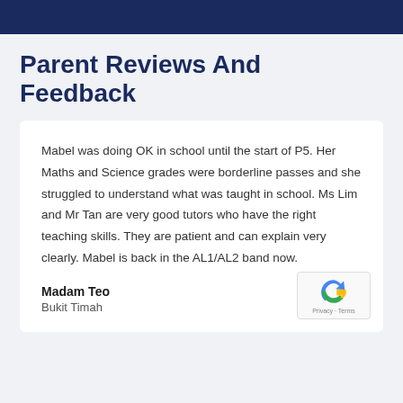Parent Reviews And Feedback
Mabel was doing OK in school until the start of P5. Her Maths and Science grades were borderline passes and she struggled to understand what was taught in school. Ms Lim and Mr Tan are very good tutors who have the right teaching skills. They are patient and can explain very clearly. Mabel is back in the AL1/AL2 band now.
Madam Teo
Bukit Timah